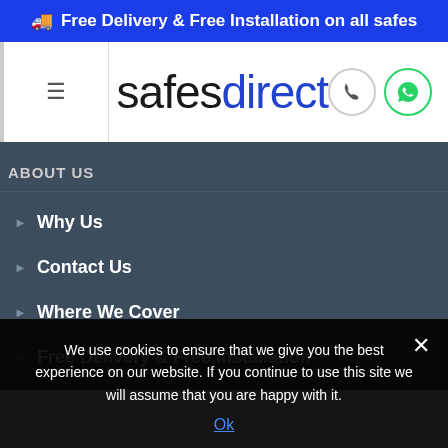🚚 Free Delivery & Free Installation on all safes
[Figure (logo): Safes Direct logo with hamburger menu, phone icon, and WhatsApp icon]
ABOUT US
Why Us
Contact Us
Where We Cover
Free Delivery & Free Installation
We use cookies to ensure that we give you the best experience on our website. If you continue to use this site we will assume that you are happy with it.
Ok